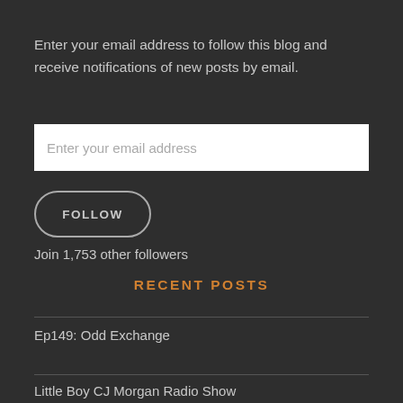Enter your email address to follow this blog and receive notifications of new posts by email.
[Figure (screenshot): Email address input field with placeholder text 'Enter your email address']
[Figure (screenshot): FOLLOW button with rounded border]
Join 1,753 other followers
RECENT POSTS
Ep149: Odd Exchange
Little Boy CJ Morgan Radio Show